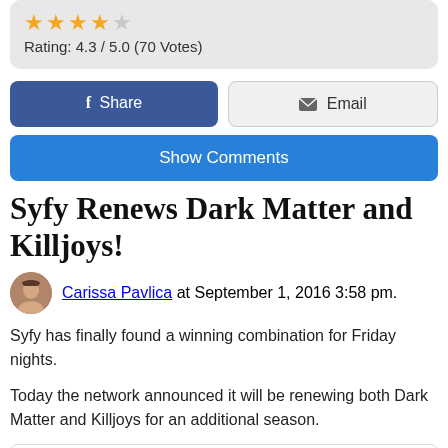[Figure (other): Star rating widget showing 4 filled stars and 1 empty star, with text 'Rating: 4.3 / 5.0 (70 Votes)']
Rating: 4.3 / 5.0 (70 Votes)
[Figure (other): Facebook Share button (blue) and Email button (light gray) side by side]
[Figure (other): Show Comments button (blue)]
Syfy Renews Dark Matter and Killjoys!
Carissa Pavlica at September 1, 2016 3:58 pm.
Syfy has finally found a winning combination for Friday nights.
Today the network announced it will be renewing both Dark Matter and Killjoys for an additional season.